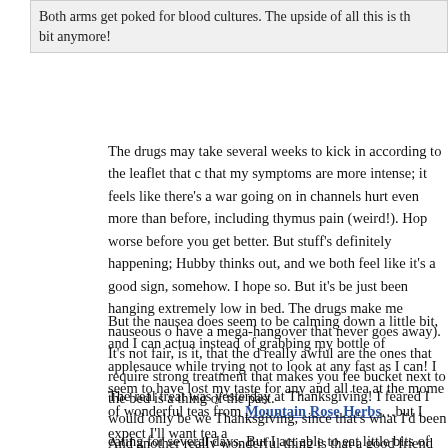Both arms get poked for blood cultures. The upside of all this is th... bit anymore!
The drugs may take several weeks to kick in according to the leaflet that... that my symptoms are more intense; it feels like there's a war going on in... channels hurt even more than before, including thymus pain (weird!). Hop... worse before you get better. But stuff's definitely happening; Hubby thinks... out, and we both feel like it's a good sign, somehow. I hope so. But it's be... just been hanging extremely low in bed. The drugs make me nauseous o... have a mega-hangover that never goes away). It's not fair, is it, that the d... really awful are the ones that require strong treatment that makes you fee... bucket next to the bed is a thing of the past.
But the nausea does seem to be calming down a little bit, and I can actua... instead of grabbing my bottle of applesauce while trying not to look at any... fast as I can! I seem to have lost my taste for any and all tea at the mome... of wonderful teas from Mountain Rose Herbs…but I expect I'll want tea a...
The real treat was yesterday at Thanksgiving! I feared I would only be we... Thanksgiving, since that's what I'd been eating for several days. But I act... able to eat little bits of the delicious feast my mom and dad cooked up! Bi... never tasted so good.
And another really wonderful thing is that a good friend has been giving...